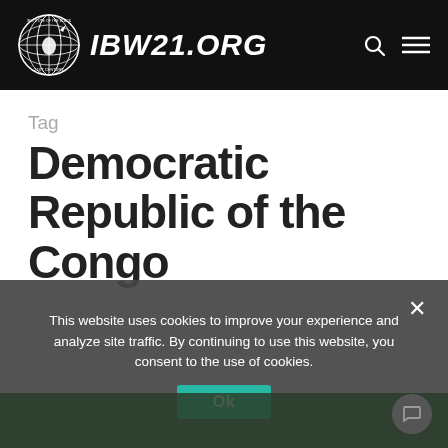IBW21.ORG
Tag
Democratic Republic of the Congo
This website uses cookies to improve your experience and analyze site traffic. By continuing to use this website, you consent to the use of cookies.